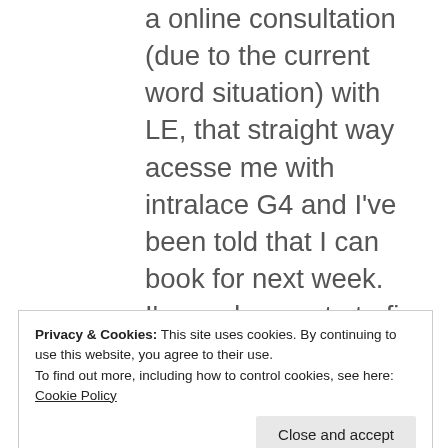a online consultation (due to the current word situation) with LE, that straight way acesse me with intralace G4 and I've been told that I can book for next week. I'm so desperate to fix my hair and be able to look in the mirror after shower without cry that I'm about to jump in this insane expensive “solution”, but I'm scare and also after read that so many women have not been happy with the results I'm really having second
Privacy & Cookies: This site uses cookies. By continuing to use this website, you agree to their use.
To find out more, including how to control cookies, see here: Cookie Policy
second opinion about this invisible